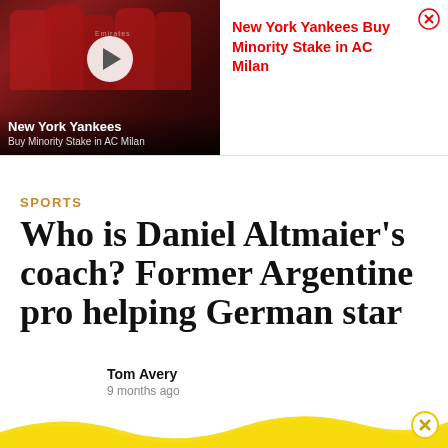[Figure (screenshot): Video thumbnail showing AC Milan soccer players in red jerseys with a play button overlay, part of an advertisement]
New York Yankees
Buy Minority Stake in AC Milan
SPORTS
Who is Daniel Altmaier's coach? Former Argentine pro helping German star
Tom Avery
9 months ago